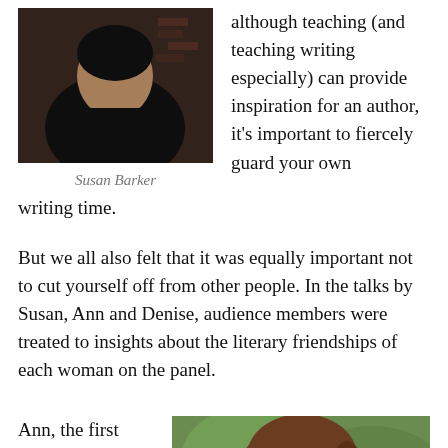[Figure (photo): Black and white portrait photo of Susan Barker against a brick wall background]
Susan Barker
although teaching (and teaching writing especially) can provide inspiration for an author, it's important to fiercely guard your own writing time.
But we all also felt that it was equally important not to cut yourself off from other people. In the talks by Susan, Ann and Denise, audience members were treated to insights about the literary friendships of each woman on the panel.
Ann, the first speaker of
[Figure (photo): Portrait photo of a woman with brown hair against a green outdoor background]